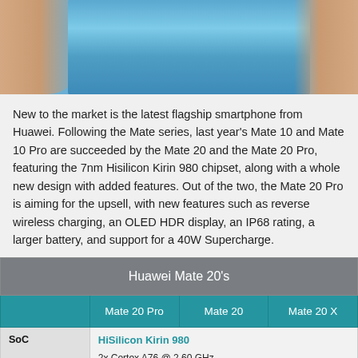[Figure (photo): Close-up photo of a blue smartphone being held by a person's hands against a light background]
New to the market is the latest flagship smartphone from Huawei. Following the Mate series, last year's Mate 10 and Mate 10 Pro are succeeded by the Mate 20 and the Mate 20 Pro, featuring the 7nm Hisilicon Kirin 980 chipset, along with a whole new design with added features. Out of the two, the Mate 20 Pro is aiming for the upsell, with new features such as reverse wireless charging, an OLED HDR display, an IP68 rating, a larger battery, and support for a 40W Supercharge.
|  | Mate 20 Pro | Mate 20 | Mate 20 X |
| --- | --- | --- | --- |
| SoC | HiSilicon Kirin 980
2x Cortex A76 @ 2.60 GHz
2x Cortex A76 @ 1.92 GHz
4x Cortex A55 @ 1.80 GHz |  |  |
| GPU | Mali-G76MP10 @ 700MHz |  |  |